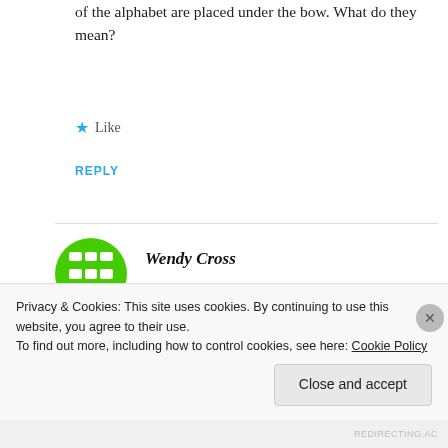of the alphabet are placed under the bow. What do they mean?
★ Like
REPLY
[Figure (illustration): Green circular avatar icon with a grid/table symbol in white]
Wendy Cross
MARCH 15, 2021 AT 3:25 PM
Hi Jean. Thank you for your comment. I'm
Privacy & Cookies: This site uses cookies. By continuing to use this website, you agree to their use.
To find out more, including how to control cookies, see here: Cookie Policy
Close and accept